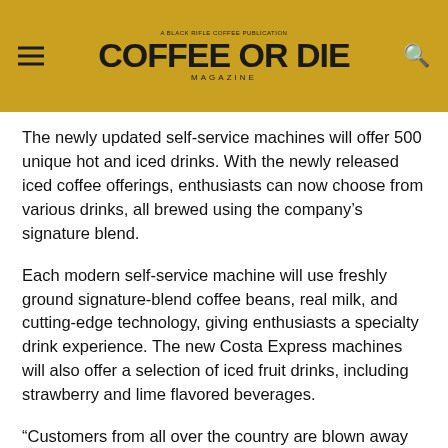COFFEE OR DIE MAGAZINE
The newly updated self-service machines will offer 500 unique hot and iced drinks. With the newly released iced coffee offerings, enthusiasts can now choose from various drinks, all brewed using the company’s signature blend.
Each modern self-service machine will use freshly ground signature-blend coffee beans, real milk, and cutting-edge technology, giving enthusiasts a specialty drink experience. The new Costa Express machines will also offer a selection of iced fruit drinks, including strawberry and lime flavored beverages.
“Customers from all over the country are blown away by the quality of our product and during these uncertain times, their daily coffee run has